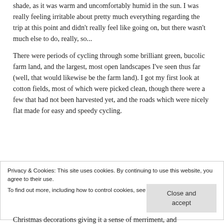shade, as it was warm and uncomfortably humid in the sun. I was really feeling irritable about pretty much everything regarding the trip at this point and didn't really feel like going on, but there wasn't much else to do, really, so...
There were periods of cycling through some brilliant green, bucolic farm land, and the largest, most open landscapes I've seen thus far (well, that would likewise be the farm land). I got my first look at cotton fields, most of which were picked clean, though there were a few that had not been harvested yet, and the roads which were nicely flat made for easy and speedy cycling.
Privacy & Cookies: This site uses cookies. By continuing to use this website, you agree to their use.
To find out more, including how to control cookies, see here: Cookie Policy
Close and accept
Christmas decorations giving it a sense of merriment, and